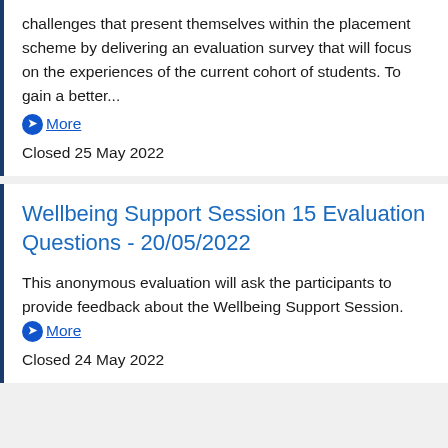challenges that present themselves within the placement scheme by delivering an evaluation survey that will focus on the experiences of the current cohort of students. To gain a better...
More
Closed 25 May 2022
Wellbeing Support Session 15 Evaluation Questions - 20/05/2022
This anonymous evaluation will ask the participants to provide feedback about the Wellbeing Support Session. More
Closed 24 May 2022